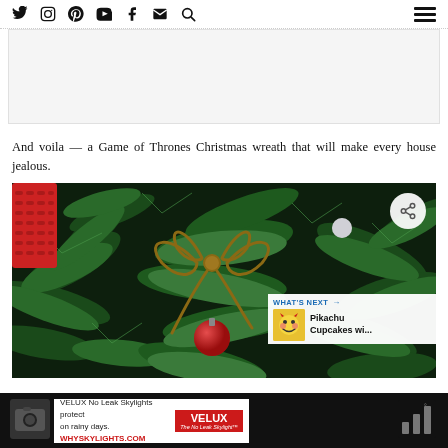Social media icons: Twitter, Instagram, Pinterest, YouTube, Facebook, Email, Search | Hamburger menu
[Figure (other): Gray advertisement banner placeholder area]
And voila — a Game of Thrones Christmas wreath that will make every house jealous.
[Figure (photo): Close-up photo of a Christmas wreath with dark green pine branches, a twine/jute bow, a red ornament, and red knitted decorations on the left. A share button overlay is in the top-right corner. A 'What's Next' overlay shows a Pikachu Cupcakes thumbnail in the bottom-right.]
[Figure (other): Bottom advertisement banner: VELUX No Leak Skylights protect on rainy days. WHYSKYLIGHTS.COM with VELUX logo and camera/weather icon on right side on dark background.]